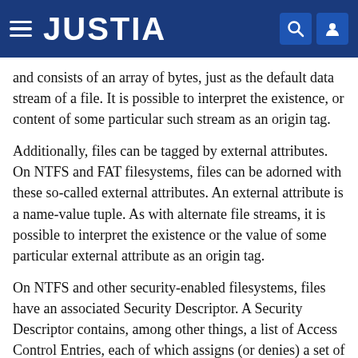JUSTIA
and consists of an array of bytes, just as the default data stream of a file. It is possible to interpret the existence, or content of some particular such stream as an origin tag.
Additionally, files can be tagged by external attributes. On NTFS and FAT filesystems, files can be adorned with these so-called external attributes. An external attribute is a name-value tuple. As with alternate file streams, it is possible to interpret the existence or the value of some particular external attribute as an origin tag.
On NTFS and other security-enabled filesystems, files have an associated Security Descriptor. A Security Descriptor contains, among other things, a list of Access Control Entries, each of which assigns (or denies) a set of permissions to a principal, named by sender ID (SID). It is possible to interpret the existence of a SID in a SD...